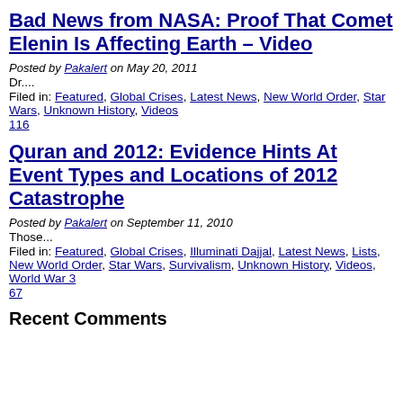Bad News from NASA: Proof That Comet Elenin Is Affecting Earth – Video
Posted by Pakalert on May 20, 2011
Dr....
Filed in: Featured, Global Crises, Latest News, New World Order, Star Wars, Unknown History, Videos
116
Quran and 2012: Evidence Hints At Event Types and Locations of 2012 Catastrophe
Posted by Pakalert on September 11, 2010
Those...
Filed in: Featured, Global Crises, Illuminati Dajjal, Latest News, Lists, New World Order, Star Wars, Survivalism, Unknown History, Videos, World War 3
67
Recent Comments